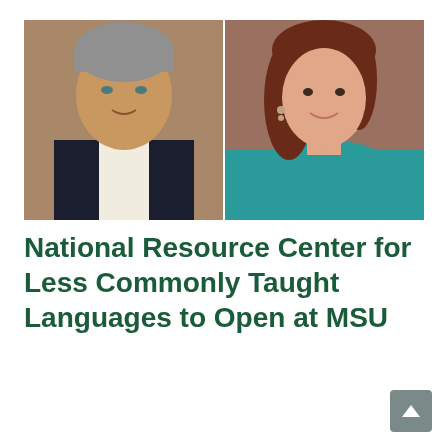[Figure (photo): Two professional headshot photos side by side: a man in a dark suit with white shirt on the left, and a woman in a teal top with brown hair on the right.]
National Resource Center for Less Commonly Taught Languages to Open at MSU